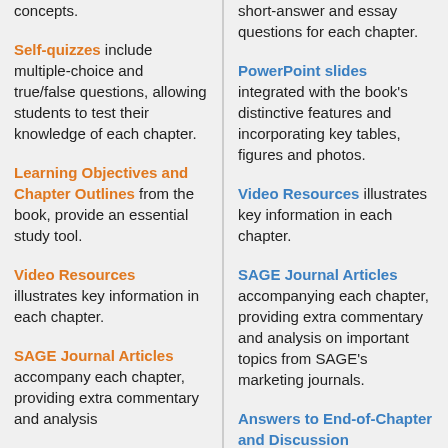concepts.
Self-quizzes include multiple-choice and true/false questions, allowing students to test their knowledge of each chapter.
Learning Objectives and Chapter Outlines from the book, provide an essential study tool.
Video Resources illustrates key information in each chapter.
SAGE Journal Articles accompany each chapter, providing extra commentary and analysis
short-answer and essay questions for each chapter.
PowerPoint slides integrated with the book's distinctive features and incorporating key tables, figures and photos.
Video Resources illustrates key information in each chapter.
SAGE Journal Articles accompanying each chapter, providing extra commentary and analysis on important topics from SAGE's marketing journals.
Answers to End-of-Chapter and Discussion